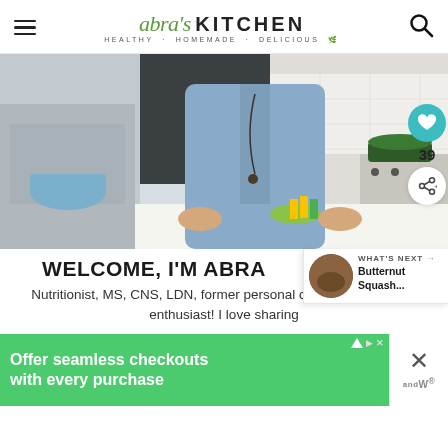Abra's KITCHEN · HEALTHY · HOMEMADE · DELICIOUS
[Figure (photo): Woman in a light blue chambray shirt tied at the waist, wearing a long beaded necklace, standing at a kitchen counter with vegetables and greens in front of her. A green dutch oven is visible on the stove in the background.]
WELCOME, I'M ABRA
Nutritionist, MS, CNS, LDN, former personal chef, and vegetable enthusiast! I love sharing
WHAT'S NEXT → Butternut Squash...
[Figure (photo): Thumbnail photo of butternut squash dish]
Offer seamless checkouts with every purchase